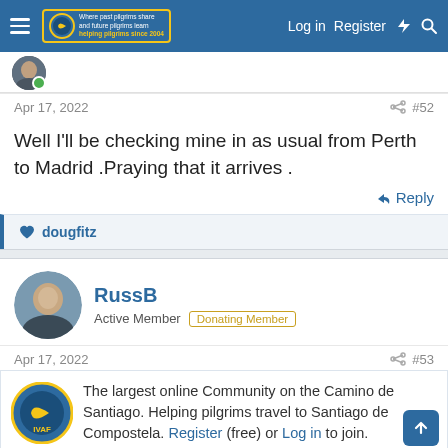Log in  Register
Apr 17, 2022  #52
Well I'll be checking mine in as usual from Perth to Madrid .Praying that it arrives .
Reply
dougfitz
RussB
Active Member  Donating Member
Apr 17, 2022  #53
The largest online Community on the Camino de Santiago. Helping pilgrims travel to Santiago de Compostela. Register (free) or Log in to join.